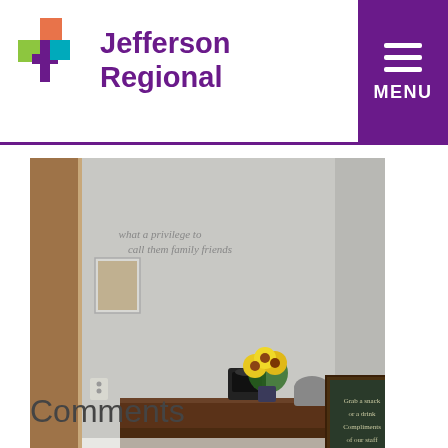Jefferson Regional
[Figure (photo): Interior photo of a hospital family lounge or waiting area corner with a dark wooden counter/table, yellow sunflowers, coffee maker, mini refrigerator, trash can, gray walls, hardwood floor, and a framed sign on the wall]
Comments